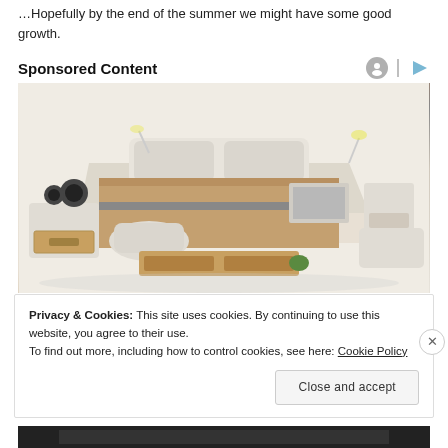…Hopefully by the end of the summer we might have some good growth.
Sponsored Content
[Figure (photo): Advertisement photo of a luxury multi-functional bed with storage compartments, speakers, a massage chair, laptop stand, and various built-in accessories.]
Privacy & Cookies: This site uses cookies. By continuing to use this website, you agree to their use.
To find out more, including how to control cookies, see here: Cookie Policy
Close and accept